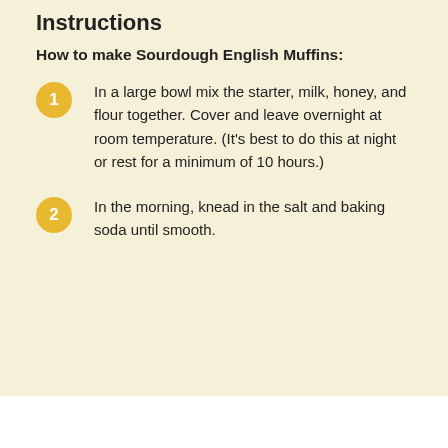Instructions
How to make Sourdough English Muffins:
In a large bowl mix the starter, milk, honey, and flour together. Cover and leave overnight at room temperature. (It's best to do this at night or rest for a minimum of 10 hours.)
In the morning, knead in the salt and baking soda until smooth.